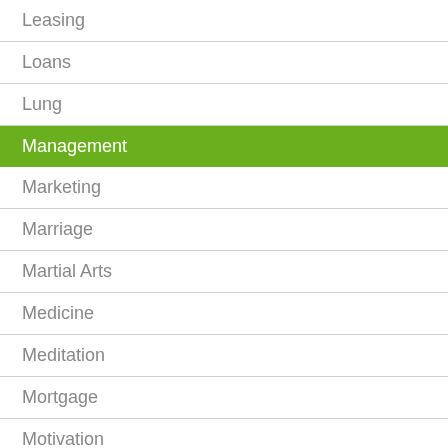Leasing
Loans
Lung
Management
Marketing
Marriage
Martial Arts
Medicine
Meditation
Mortgage
Motivation
Motorcycles
Music